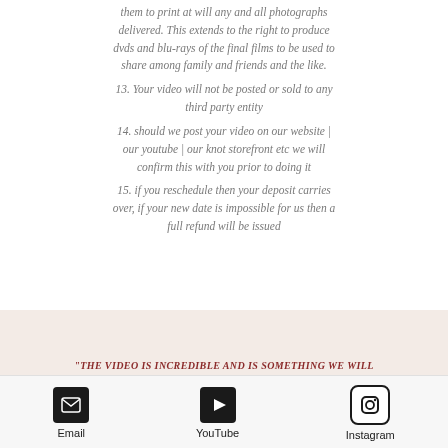them to print at will any and all photographs delivered. This extends to the right to produce dvds and blu-rays of the final films to be used to share among family and friends and the like.
13. Your video will not be posted or sold to any third party entity
14. should we post your video on our website | our youtube | our knot storefront etc we will confirm this with you prior to doing it
15. if you reschedule then your deposit carries over, if your new date is impossible for us then a full refund will be issued
"THE VIDEO IS INCREDIBLE AND IS SOMETHING WE WILL CHERISH FOR THE REST OF OUR LIVES"
Sabrina & Tim
© 2020 Nora Cyprus. A Two Phoenix Film by Natalie Chism. All Cinematic Wedding Films & Glamour High Definition Photography in the United States & beyond
Email  YouTube  Instagram